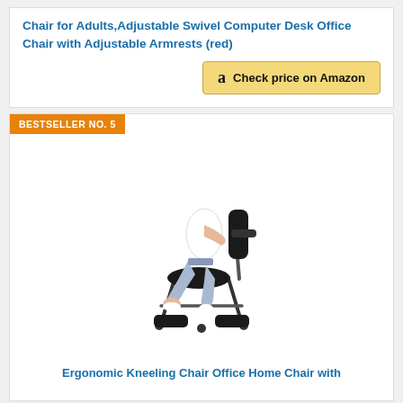Chair for Adults,Adjustable Swivel Computer Desk Office Chair with Adjustable Armrests (red)
Check price on Amazon
BESTSELLER NO. 5
[Figure (photo): Person sitting on an ergonomic kneeling chair with black seat and knee pads, black metal frame with wheels]
Ergonomic Kneeling Chair Office Home Chair with